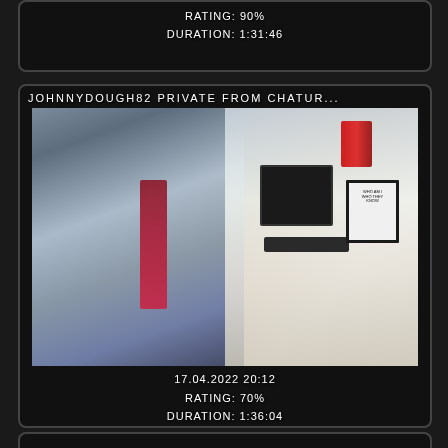RATING: 90%
DURATION: 1:31:46
JOHNNYDOUGH82 PRIVATE FROM CHATUR...
[Figure (photo): Video thumbnail showing a man in a dark suit and red tie sitting in an office chair in front of a white desk with monitors and bookshelves in the background]
17.04.2022 20:12
RATING: 70%
DURATION: 1:36:04